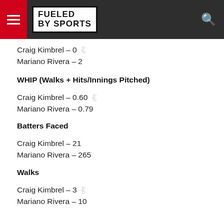FUELED BY SPORTS
Craig Kimbrel – 0 🐇
Mariano Rivera – 2
WHIP (Walks + Hits/Innings Pitched)
Craig Kimbrel – 0.60 🐇
Mariano Rivera – 0.79
Batters Faced
Craig Kimbrel – 21
Mariano Rivera – 265
Walks
Craig Kimbrel – 3 🐇
Mariano Rivera – 10